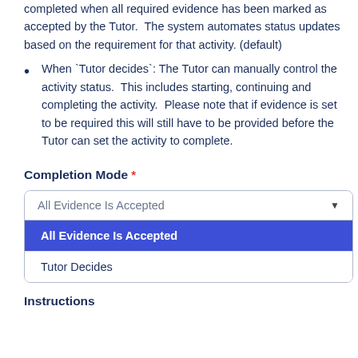completed when all required evidence has been marked as accepted by the Tutor. The system automates status updates based on the requirement for that activity. (default)
When `Tutor decides`: The Tutor can manually control the activity status. This includes starting, continuing and completing the activity. Please note that if evidence is set to be required this will still have to be provided before the Tutor can set the activity to complete.
Completion Mode *
[Figure (screenshot): Dropdown selector showing 'All Evidence Is Accepted' selected, with dropdown open showing two options: 'All Evidence Is Accepted' (highlighted in blue) and 'Tutor Decides']
Instructions